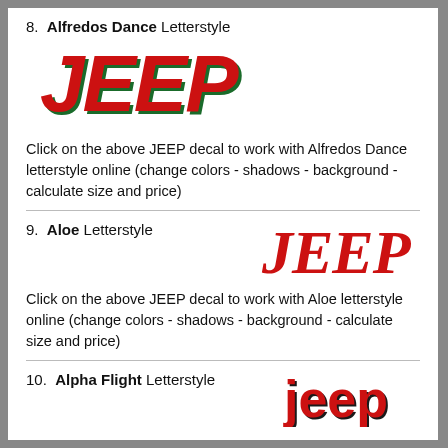8.  Alfredos Dance Letterstyle
[Figure (logo): JEEP text logo in Alfredos Dance letterstyle — large bold red italic letters with dark green/black shadow/outline effect]
Click on the above JEEP decal to work with Alfredos Dance letterstyle online (change colors - shadows - background - calculate size and price)
9.  Aloe Letterstyle
[Figure (logo): JEEP text logo in Aloe letterstyle — bold red italic serif letters]
Click on the above JEEP decal to work with Aloe letterstyle online (change colors - shadows - background - calculate size and price)
10.  Alpha Flight Letterstyle
[Figure (logo): JEEP text logo in Alpha Flight letterstyle — chunky red letters with dark outline]